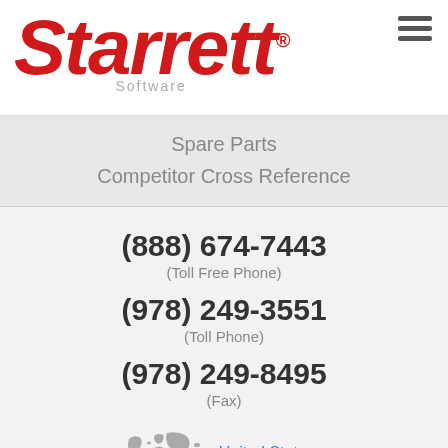[Figure (logo): Starrett red italic logo with registered trademark symbol and 'Software' subtitle text]
Spare Parts
Competitor Cross Reference
(888) 674-7443
(Toll Free Phone)
(978) 249-3551
(Toll Phone)
(978) 249-8495
(Fax)
[Figure (illustration): World map icon in grey]
United States ▾